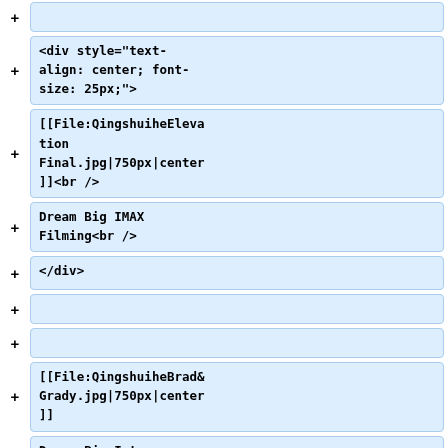+ (empty)
+ <div style="text-align: center; font-size: 25px;">
+ [[File:QingshuiheElevation Final.jpg|750px|center]]<br />
+ Dream Big IMAX Filming<br />
+ </div>
+ (empty)
+ (empty)
+ [[File:QingshuiheBrad&Grady.jpg|750px|center]]
+ Dream Big Inte...